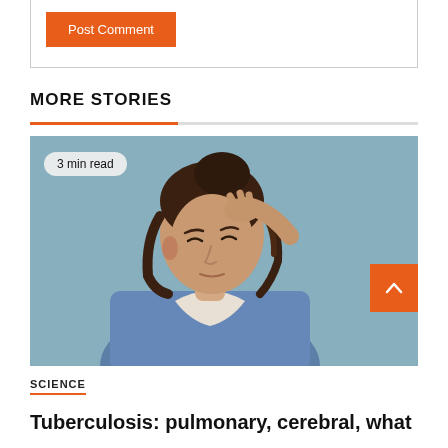Post Comment
MORE STORIES
[Figure (photo): Woman in denim shirt touching her forehead with eyes closed, appearing to have a headache or migraine, photographed against a gray-blue background. Badge overlay reads '3 min read'.]
SCIENCE
Tuberculosis: pulmonary, cerebral, what